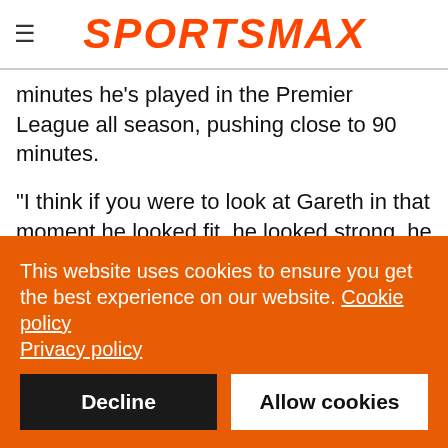SPORTSMAX
minutes he's played in the Premier League all season, pushing close to 90 minutes.
"I think if you were to look at Gareth in that moment he looked fit, he looked strong, he was brave, he added a different dimension for us and he has severe quality as well.
"In terms of him thinking about this summer, I don't believe so because he was out there the other night playing through some pain, playing through a problem he had, for me, for himself and
This website uses cookies to ensure you get the best experience on our website. Cookie policy Privacy policy
Decline
Allow cookies